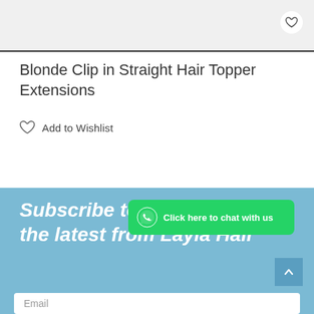[Figure (photo): Partial product photo of blonde hair topper extensions on white background]
Blonde Clip in Straight Hair Topper Extensions
Add to Wishlist
Subscribe to keep up with the latest from Layla Hair
[Figure (other): WhatsApp chat button with green background and phone icon reading 'Click here to chat with us']
Email